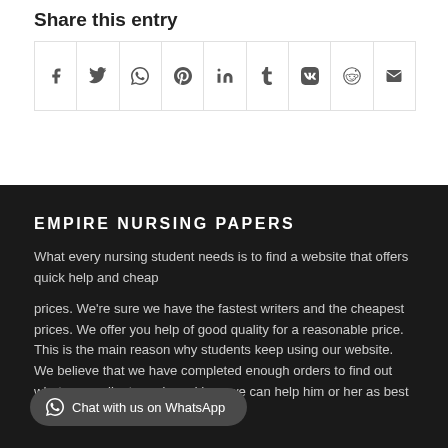Share this entry
[Figure (other): Row of social media share icons: Facebook, Twitter, WhatsApp, Pinterest, LinkedIn, Tumblr, VK, Reddit, Email]
EMPIRE NURSING PAPERS
What every nursing student needs is to find a website that offers quick help and cheap
prices. We're sure we have the fastest writers and the cheapest prices. We offer you help of good quality for a reasonable price. This is the main reason why students keep using our website. We believe that we have completed enough orders to find out what every client needs and how we can help him or her as best we can.
Chat with us on WhatsApp